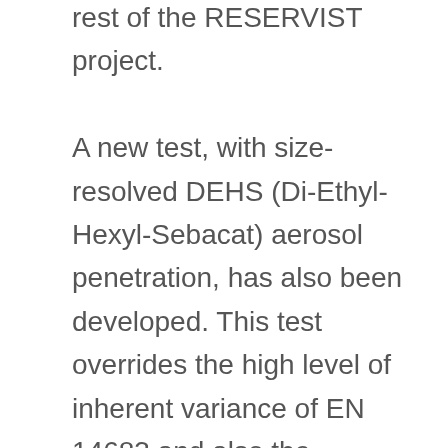rest of the RESERVIST project. A new test, with size-resolved DEHS (Di-Ethyl-Hexyl-Sebacat) aerosol penetration, has also been developed. This test overrides the high level of inherent variance of EN 14683 and also the dependence on the size distribution of the aerosol challenge of EN 149. Theoretical comparison of the new test to EN 14683 and to EN 149 has been carried out, and it is expected that a